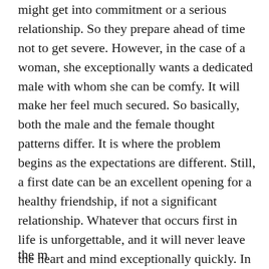might get into commitment or a serious relationship. So they prepare ahead of time not to get severe. However, in the case of a woman, she exceptionally wants a dedicated male with whom she can be comfy. It will make her feel much secured. So basically, both the male and the female thought patterns differ. It is where the problem begins as the expectations are different. Still, a first date can be an excellent opening for a healthy friendship, if not a significant relationship. Whatever that occurs first in life is unforgettable, and it will never leave the heart and mind exceptionally quickly. In that method, the first date will always remain evergreen in the man and woman's minds.
the m...